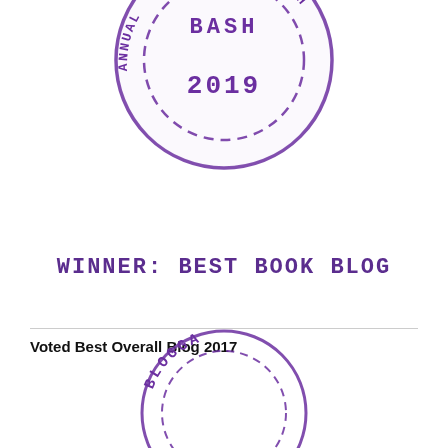[Figure (illustration): Purple circular stamp (partially cropped at top) with text 'BASH', 'ANNUAL' around the ring, dashed inner circle, and '2019' in the center]
WINNER: BEST BOOK BLOG
Voted Best Overall Blog 2017
[Figure (illustration): Purple circular stamp (partially cropped at bottom) with text 'BLOGGA' visible around the ring]